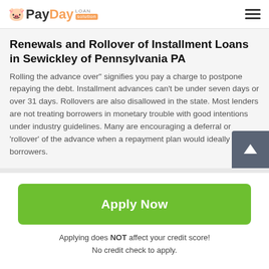PayDay Loan Solution
Renewals and Rollover of Installment Loans in Sewickley of Pennsylvania PA
Rolling the advance over" signifies you pay a charge to postpone repaying the debt. Installment advances can't be under seven days or over 31 days. Rollovers are also disallowed in the state. Most lenders are not treating borrowers in monetary trouble with good intentions under industry guidelines. Many are encouraging a deferral or 'rollover' of the advance when a repayment plan would ideally service borrowers.
Apply Now
Applying does NOT affect your credit score!
No credit check to apply.